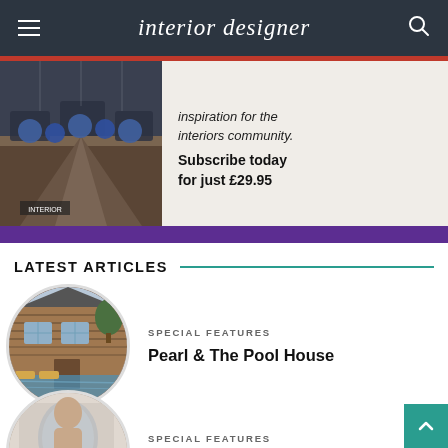interior designer
[Figure (screenshot): Advertisement banner for Interior Designer magazine subscription showing interior image and text 'inspiration for the interiors community. Subscribe today for just £29.95']
LATEST ARTICLES
[Figure (photo): Circular photo of a log cabin / pool house exterior with a swimming pool and lounge chairs]
SPECIAL FEATURES
Pearl & The Pool House
[Figure (photo): Circular photo of a wellness/bathroom interior scene]
SPECIAL FEATURES
Wellness at home by Rima Tatjana